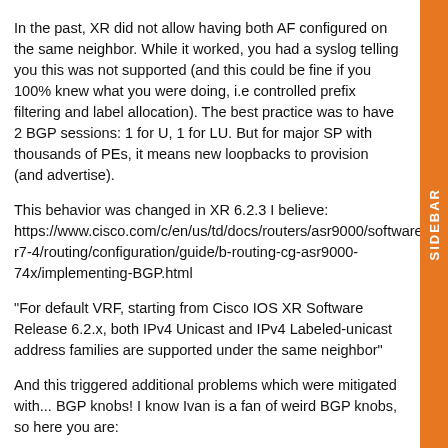In the past, XR did not allow having both AF configured on the same neighbor. While it worked, you had a syslog telling you this was not supported (and this could be fine if you 100% knew what you were doing, i.e controlled prefix filtering and label allocation). The best practice was to have 2 BGP sessions: 1 for U, 1 for LU. But for major SP with thousands of PEs, it means new loopbacks to provision (and advertise).
This behavior was changed in XR 6.2.3 I believe: https://www.cisco.com/c/en/us/td/docs/routers/asr9000/software/asr9k-r7-4/routing/configuration/guide/b-routing-cg-asr9000-74x/implementing-BGP.html
"For default VRF, starting from Cisco IOS XR Software Release 6.2.x, both IPv4 Unicast and IPv4 Labeled-unicast address families are supported under the same neighbor"
And this triggered additional problems which were mitigated with... BGP knobs! I know Ivan is a fan of weird BGP knobs, so here you are:
update in merge safi unicast labeled-unicast: I think this one was used to withdraw both entries, independently which SAFI we received the BGP withdraw. Introduced in 6.6.x I believe. It was hidden. It was later renamed to "update in labeled-unicast equivalent" in 7.1.1